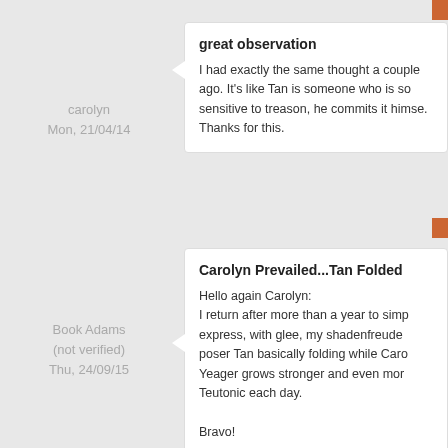carolyn
Mon, 21/04/14
great observation
I had exactly the same thought a couple ago. It's like Tan is someone who is so sensitive to treason, he commits it himse. Thanks for this.
Book Adams
(not verified)
Thu, 24/09/15
Carolyn Prevailed...Tan Folded
Hello again Carolyn:
I return after more than a year to simp express, with glee, my shadenfreude poser Tan basically folding while Caro Yeager grows stronger and even mor Teutonic each day.

Bravo!